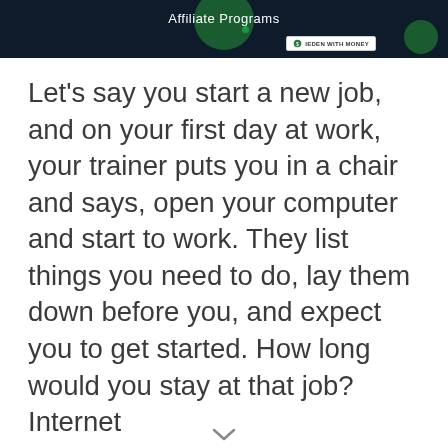[Figure (illustration): Dark navy banner with green circles and 'Affiliate Programs' title text, plus a small white badge logo on the right]
Let's say you start a new job, and on your first day at work, your trainer puts you in a chair and says, open your computer and start to work. They list things you need to do, lay them down before you, and expect you to get started. How long would you stay at that job? Internet